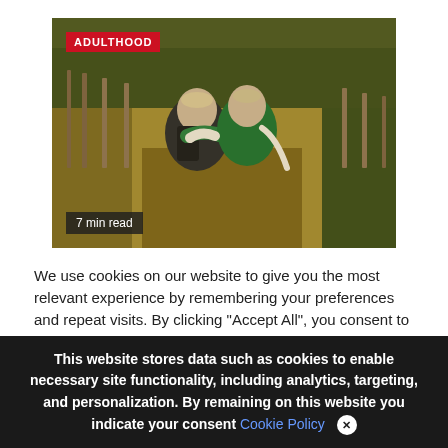[Figure (photo): Two people with arms around each other walking through a field with golden grass and wooden fence posts, viewed from behind. One wears a green hoodie, the other a white and black jacket with backpack.]
We use cookies on our website to give you the most relevant experience by remembering your preferences and repeat visits. By clicking "Accept All", you consent to the use of ALL provide a controlled consent.
This website stores data such as cookies to enable necessary site functionality, including analytics, targeting, and personalization. By remaining on this website you indicate your consent Cookie Policy